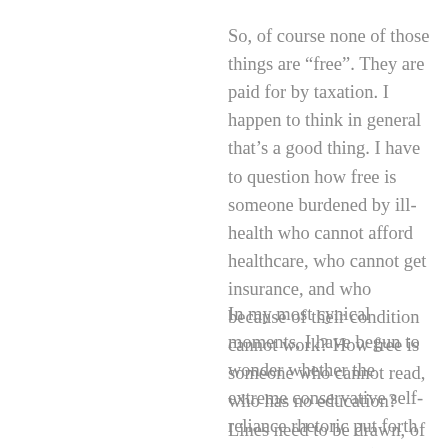So, of course none of those things are “free”. They are paid for by taxation. I happen to think in general that’s a good thing. I have to question how free is someone burdened by ill-health who cannot afford healthcare, who cannot get insurance, and who because of their condition cannot work? How free is someone who cannot read, who has no education? Lines need to be drawn, of course, but I sense we would draw them in very different places. There are very different ways of looking at freedom.
In my most cynical moments, I have begun to wonder whether the extreme conservative self-reliance rhetoric put forth by some members (I’m not implying you necessarily, I’ve seen it various places on the internet), is because they actually members to feel a